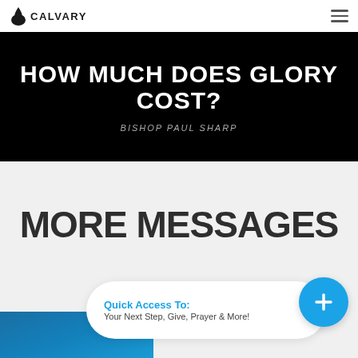CALVARY
HOW MUCH DOES GLORY COST?
BISHOP PAUL SHARP
MORE MESSAGES
Quick Access To:
Your Next Step, Give, Prayer & More!